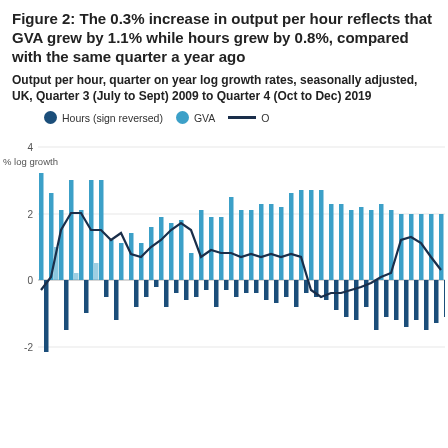Figure 2: The 0.3% increase in output per hour reflects that GVA grew by 1.1% while hours grew by 0.8%, compared with the same quarter a year ago
Output per hour, quarter on year log growth rates, seasonally adjusted, UK, Quarter 3 (July to Sept) 2009 to Quarter 4 (Oct to Dec) 2019
[Figure (grouped-bar-chart): Output per hour, quarter on year log growth rates, seasonally adjusted]